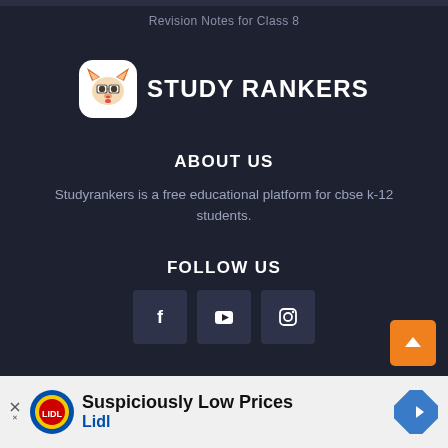Revision Notes for Class 8
[Figure (logo): Study Rankers logo: orange fox mascot with glasses on white rounded square, next to bold white text STUDY RANKERS]
ABOUT US
Studyrankers is a free educational platform for cbse k-12 students.
FOLLOW US
[Figure (other): Three dark square social media icon buttons: Facebook (f), YouTube (play button), Instagram (camera)]
[Figure (other): Back to top orange button with upward arrow]
Copyright © 2022 Study Rankers All Right Reserved
[Figure (other): Lidl advertisement banner: Suspiciously Low Prices / Lidl with Lidl logo and road sign arrow icon]